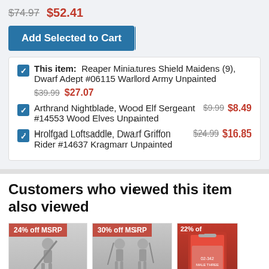$74.97  $52.41
Add Selected to Cart
This item: Reaper Miniatures Shield Maidens (9), Dwarf Adept #06115 Warlord Army Unpainted  $39.99  $27.07
Arthrand Nightblade, Wood Elf Sergeant #14553 Wood Elves Unpainted  $9.99  $8.49
Hrolfgad Loftsaddle, Dwarf Griffon Rider #14637 Kragmarr Unpainted  $24.99  $16.85
Customers who viewed this item also viewed
[Figure (photo): Miniature figure with spear, 24% off MSRP badge]
[Figure (photo): Two miniature figures, 30% off MSRP badge]
[Figure (photo): Product in retail packaging, 22% off badge]